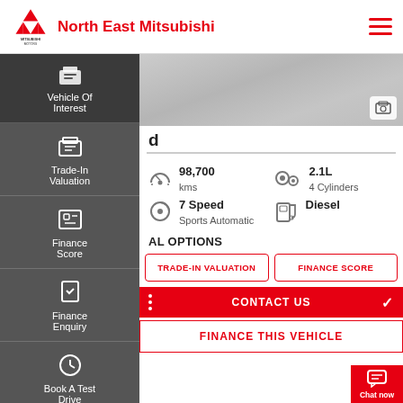North East Mitsubishi
[Figure (screenshot): Mitsubishi Motors dealership website screenshot showing navigation sidebar with Vehicle Of Interest, Trade-In Valuation, Finance Score, Finance Enquiry, Book A Test Drive, Click To Buy options. Main content shows vehicle specs: 98,700 kms, 2.1L 4 Cylinders, 7 Speed Sports Automatic, Diesel. Additional options section with Trade-In Valuation and Finance Score buttons. Contact Us and Finance This Vehicle CTAs.]
98,700 kms
2.1L 4 Cylinders
7 Speed Sports Automatic
Diesel
AL OPTIONS
TRADE-IN VALUATION
FINANCE SCORE
CONTACT US
FINANCE THIS VEHICLE